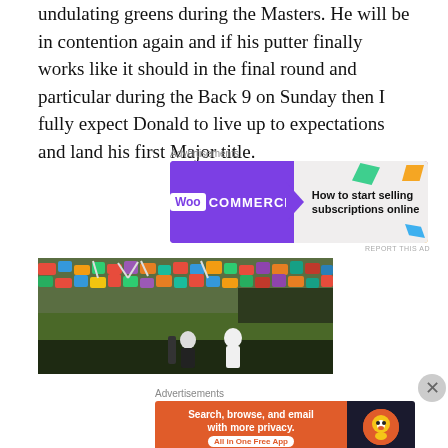undulating greens during the Masters. He will be in contention again and if his putter finally works like it should in the final round and particular during the Back 9 on Sunday then I fully expect Donald to live up to expectations and land his first Major title.
[Figure (advertisement): WooCommerce ad: How to start selling subscriptions online]
[Figure (photo): Golf photo showing a golfer and caddie on the course with a large crowd of spectators in the background, at what appears to be the Masters tournament.]
[Figure (advertisement): DuckDuckGo ad: Search, browse, and email with more privacy. All in One Free App]